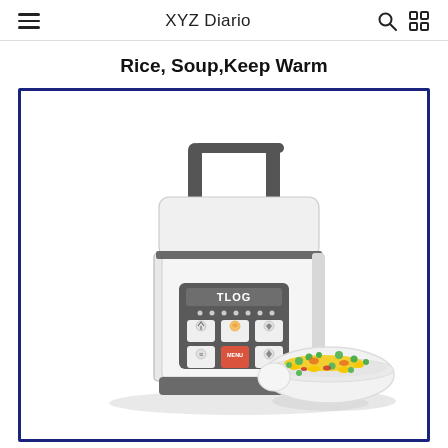XYZ Diario
Rice, Soup,Keep Warm
[Figure (photo): A TLOG brand portable mini rice cooker/lunch box in white with a dark gray carry handle on top, digital control panel with 6 function buttons labeled TLOG, and a white bowl filled with colorful mixed vegetables (corn, peas, carrots, peppers) placed beside it.]